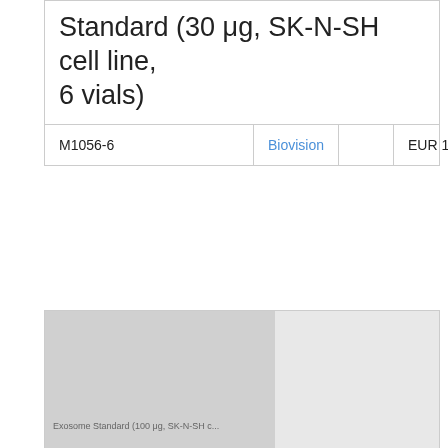Standard (30 μg, SK-N-SH cell line, 6 vials)
| SKU | Vendor |  | Price |
| --- | --- | --- | --- |
| M1056-6 | Biovision |  | EUR 1306 |
[Figure (photo): Product image placeholder for ExoStd Lyophilized Exosome Standard 100 μg SK-N-SH cell line]
ExoStd? Lyophilized Exosome Standard (100 μg, SK-N-SH cell line, 6 vials)
| SKU | Vendor |  | Price |
| --- | --- | --- | --- |
| M1057-6 | Biovision |  | EUR 1616 |